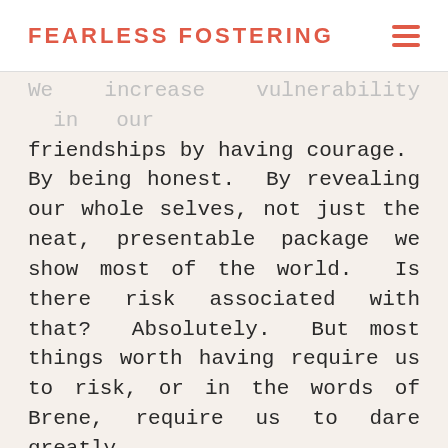FEARLESS FOSTERING
We increase vulnerability in our friendships by having courage. By being honest. By revealing our whole selves, not just the neat, presentable package we show most of the world. Is there risk associated with that? Absolutely. But most things worth having require us to risk, or in the words of Brene, require us to dare greatly.
Ask For What You Need
True Besties can admit it when they